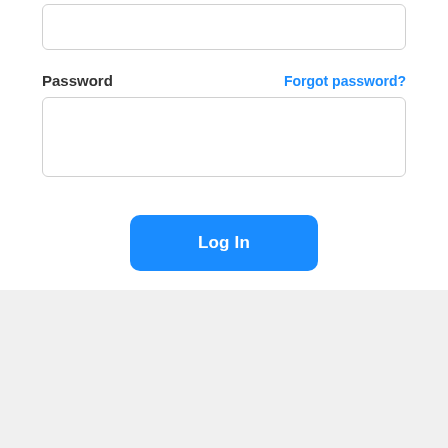[Figure (screenshot): Login form partial view showing a password field with label 'Password', a 'Forgot password?' link, a password input box, a blue 'Log In' button, and a 'Don't have an account? Sign up' text link.]
Password
Forgot password?
Log In
Don't have an account? Sign up